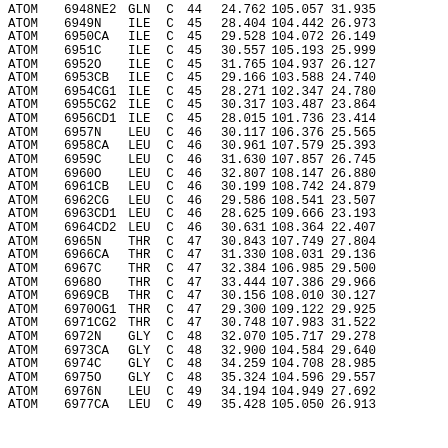| Record | Serial | Name | ResName | Chain | Seq | X | Y | Z |
| --- | --- | --- | --- | --- | --- | --- | --- | --- |
| ATOM | 6948 | NE2 | GLN | C | 44 | 24.762 | 105.057 | 31.935 |
| ATOM | 6949 | N | ILE | C | 45 | 28.404 | 104.442 | 26.973 |
| ATOM | 6950 | CA | ILE | C | 45 | 29.528 | 104.072 | 26.149 |
| ATOM | 6951 | C | ILE | C | 45 | 30.557 | 105.193 | 25.999 |
| ATOM | 6952 | O | ILE | C | 45 | 31.765 | 104.937 | 26.127 |
| ATOM | 6953 | CB | ILE | C | 45 | 29.166 | 103.588 | 24.740 |
| ATOM | 6954 | CG1 | ILE | C | 45 | 28.271 | 102.347 | 24.780 |
| ATOM | 6955 | CG2 | ILE | C | 45 | 30.317 | 103.487 | 23.864 |
| ATOM | 6956 | CD1 | ILE | C | 45 | 28.015 | 101.736 | 23.414 |
| ATOM | 6957 | N | LEU | C | 46 | 30.117 | 106.376 | 25.565 |
| ATOM | 6958 | CA | LEU | C | 46 | 30.961 | 107.579 | 25.393 |
| ATOM | 6959 | C | LEU | C | 46 | 31.630 | 107.857 | 26.745 |
| ATOM | 6960 | O | LEU | C | 46 | 32.807 | 108.147 | 26.880 |
| ATOM | 6961 | CB | LEU | C | 46 | 30.199 | 108.742 | 24.879 |
| ATOM | 6962 | CG | LEU | C | 46 | 29.586 | 108.541 | 23.507 |
| ATOM | 6963 | CD1 | LEU | C | 46 | 28.625 | 109.666 | 23.193 |
| ATOM | 6964 | CD2 | LEU | C | 46 | 30.631 | 108.364 | 22.407 |
| ATOM | 6965 | N | THR | C | 47 | 30.843 | 107.749 | 27.804 |
| ATOM | 6966 | CA | THR | C | 47 | 31.330 | 108.031 | 29.136 |
| ATOM | 6967 | C | THR | C | 47 | 32.384 | 106.985 | 29.500 |
| ATOM | 6968 | O | THR | C | 47 | 33.444 | 107.386 | 29.966 |
| ATOM | 6969 | CB | THR | C | 47 | 30.156 | 108.010 | 30.127 |
| ATOM | 6970 | OG1 | THR | C | 47 | 29.300 | 109.122 | 29.925 |
| ATOM | 6971 | CG2 | THR | C | 47 | 30.748 | 107.983 | 31.522 |
| ATOM | 6972 | N | GLY | C | 48 | 32.070 | 105.717 | 29.278 |
| ATOM | 6973 | CA | GLY | C | 48 | 32.900 | 104.584 | 29.640 |
| ATOM | 6974 | C | GLY | C | 48 | 34.259 | 104.708 | 28.985 |
| ATOM | 6975 | O | GLY | C | 48 | 35.324 | 104.596 | 29.557 |
| ATOM | 6976 | N | LEU | C | 49 | 34.194 | 104.949 | 27.692 |
| ATOM | 6977 | CA | LEU | C | 49 | 35.428 | 105.050 | 26.913 |